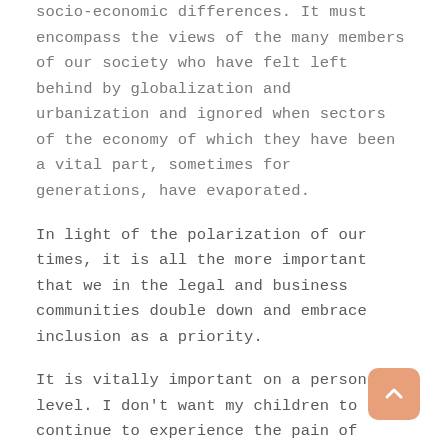socio-economic differences. It must encompass the views of the many members of our society who have felt left behind by globalization and urbanization and ignored when sectors of the economy of which they have been a vital part, sometimes for generations, have evaporated.
In light of the polarization of our times, it is all the more important that we in the legal and business communities double down and embrace inclusion as a priority.
It is vitally important on a personal level.  I don't want my children to continue to experience the pain of being minimalized and marginalized.
And is vitally important to businesses and law